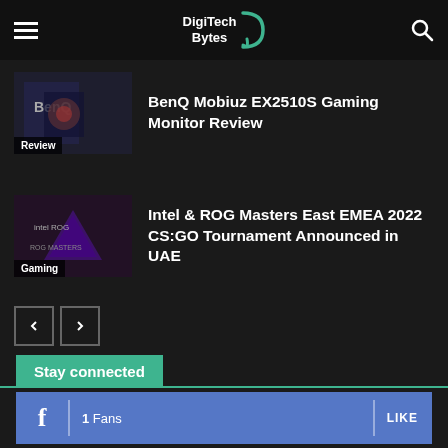DigiTech Bytes
BenQ Mobiuz EX2510S Gaming Monitor Review
Intel & ROG Masters East EMEA 2022 CS:GO Tournament Announced in UAE
Stay connected
1  Fans  LIKE
1  Followers  FOLLOW